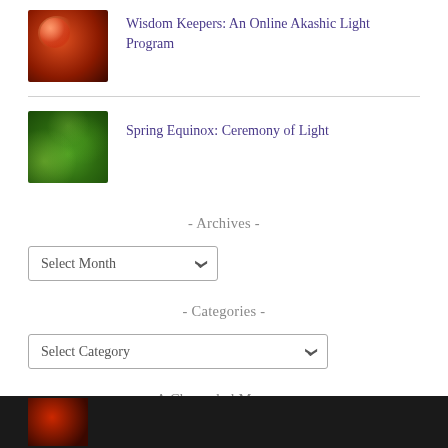[Figure (photo): Red berries or fruit with bokeh background thumbnail]
Wisdom Keepers: An Online Akashic Light Program
[Figure (photo): Green grass with dew drops thumbnail]
Spring Equinox: Ceremony of Light
- Archives -
Select Month
- Categories -
Select Category
- A Channeled Message -
[Figure (photo): Dark thumbnail image at bottom]